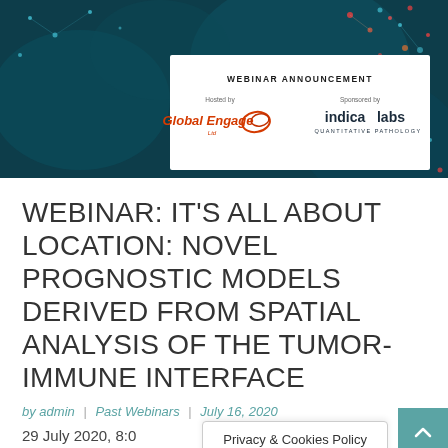[Figure (photo): Webinar announcement banner with dark teal microscopy background. White box in center reads 'WEBINAR ANNOUNCEMENT'. Below: 'Hosted by' with Global Engage Ltd logo (red/orange text), and 'Sponsored by' with indica labs QUANTITATIVE PATHOLOGY logo (dark text).]
WEBINAR: IT'S ALL ABOUT LOCATION: NOVEL PROGNOSTIC MODELS DERIVED FROM SPATIAL ANALYSIS OF THE TUMOR-IMMUNE INTERFACE
by admin | Past Webinars | July 16, 2020
29 July 2020, 8:0
Privacy & Cookies Policy